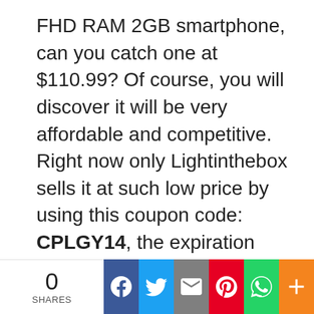FHD RAM 2GB smartphone, can you catch one at $110.99? Of course, you will discover it will be very affordable and competitive. Right now only Lightinthebox sells it at such low price by using this coupon code: CPLGY14, the expiration date will be Jan. 31. Carry on!
0 SHARES | Facebook | Twitter | Email | Pinterest | WhatsApp | More